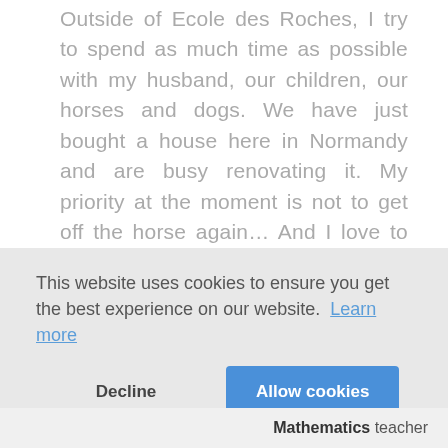Outside of Ecole des Roches, I try to spend as much time as possible with my husband, our children, our horses and dogs. We have just bought a house here in Normandy and are busy renovating it. My priority at the moment is not to get off the horse again... And I love to read, which is pretty obvious from the subject I teach.
This website uses cookies to ensure you get the best experience on our website. Learn more
Decline  Allow cookies
Mathematics teacher